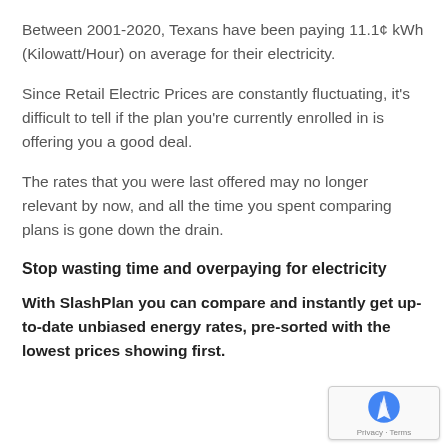Between 2001-2020, Texans have been paying 11.1¢ kWh (Kilowatt/Hour) on average for their electricity.
Since Retail Electric Prices are constantly fluctuating, it's difficult to tell if the plan you're currently enrolled in is offering you a good deal.
The rates that you were last offered may no longer relevant by now, and all the time you spent comparing plans is gone down the drain.
Stop wasting time and overpaying for electricity
With SlashPlan you can compare and instantly get up-to-date unbiased energy rates, pre-sorted with the lowest prices showing first.